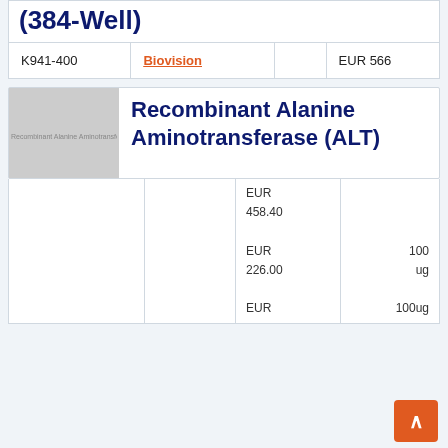(384-Well)
| Catalog | Supplier |  | Price |
| --- | --- | --- | --- |
| K941-400 | Biovision |  | EUR 566 |
[Figure (photo): Thumbnail placeholder image for Recombinant Alanine Aminotransferase (ALT) product]
Recombinant Alanine Aminotransferase (ALT)
|  |  | Price | Quantity |
| --- | --- | --- | --- |
|  |  | EUR 458.40 |  |
|  |  | EUR 226.00 | 100 ug |
|  |  | EUR | 100ug |